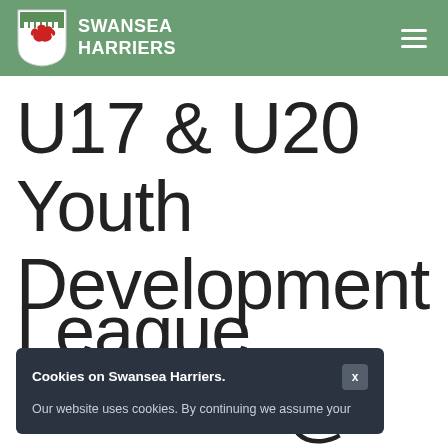SWANSEA HARRIERS
U17 & U20 Youth Development League Match 1 @
Cookies on Swansea Harriers.  Our website uses cookies. By continuing we assume your...